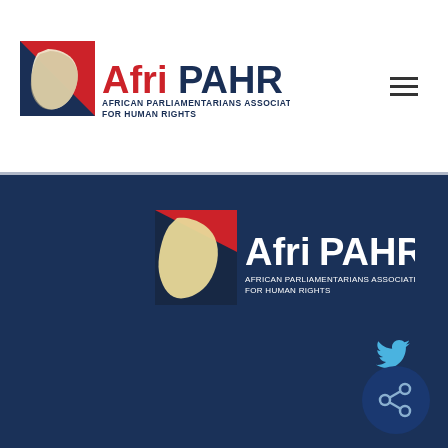[Figure (logo): AfriPAHR logo in header - African Parliamentarians Association for Human Rights, with Africa map icon in blue/red/white]
[Figure (logo): AfriPAHR logo in dark footer area - African Parliamentarians Association for Human Rights, with Africa map icon in yellow/red/white on dark blue background]
© 2019 AfriPAHR | PRIVACY POLICY